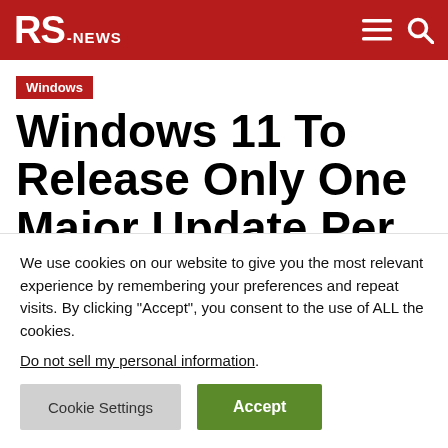RS-NEWS
Windows
Windows 11 To Release Only One Major Update Per
We use cookies on our website to give you the most relevant experience by remembering your preferences and repeat visits. By clicking “Accept”, you consent to the use of ALL the cookies.
Do not sell my personal information.
Cookie Settings   Accept